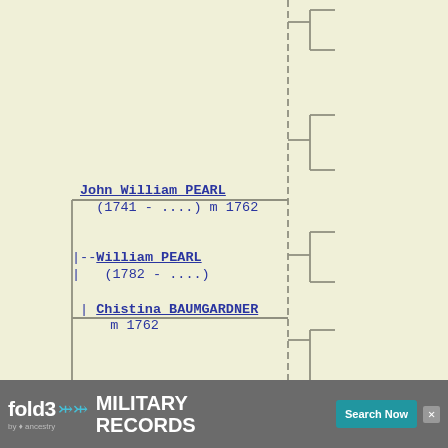[Figure (other): Genealogical/family tree diagram showing ancestry chart with names John William PEARL (1741 - ....) m 1762, William PEARL (1782 - ....), and Chistina BAUMGARDNER m 1762, connected by dashed and solid lines representing family relationships.]
John William PEARL
(1741 - ....) m 1762
--William PEARL
(1782 - ....)
Chistina BAUMGARDNER
m 1762
[Figure (other): Advertisement banner for fold3 by Ancestry - Military Records, Search Now button]